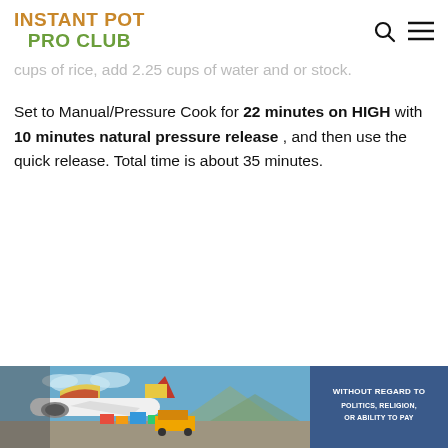INSTANT POT PRO CLUB
cups of rice, add 2.25 cups of water and or stock.
Set to Manual/Pressure Cook for 22 minutes on HIGH with 10 minutes natural pressure release , and then use the quick release. Total time is about 35 minutes.
[Figure (photo): Advertisement banner showing a cargo airplane being loaded with packages on a tarmac, with a blue overlay badge reading WITHOUT REGARD TO POLITICS, RELIGION, OR ABILITY TO PAY]